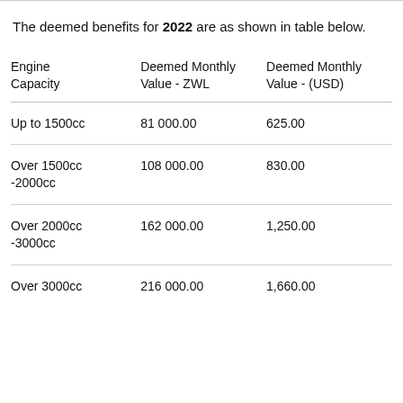The deemed benefits for 2022 are as shown in table below.
| Engine Capacity | Deemed Monthly Value - ZWL | Deemed Monthly Value - (USD) |
| --- | --- | --- |
| Up to 1500cc | 81 000.00 | 625.00 |
| Over 1500cc -2000cc | 108 000.00 | 830.00 |
| Over 2000cc -3000cc | 162 000.00 | 1,250.00 |
| Over 3000cc | 216 000.00 | 1,660.00 |